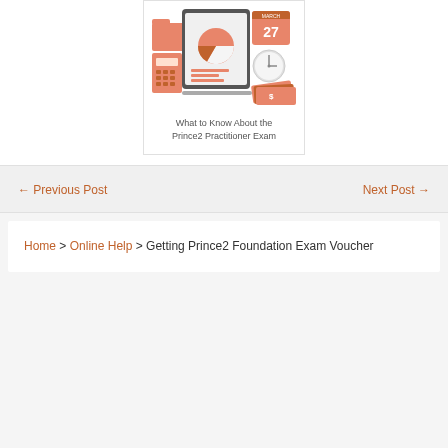[Figure (illustration): Orange and white illustration showing a clipboard with a pie chart, calendar showing March 27, calculator, clock, folders, and dollar bills — representing project management / exam materials]
What to Know About the Prince2 Practitioner Exam
← Previous Post
Next Post →
Home > Online Help > Getting Prince2 Foundation Exam Voucher